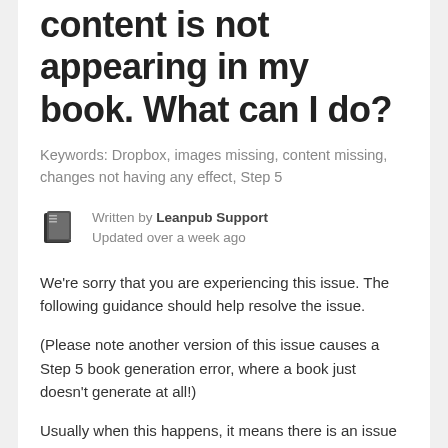content is not appearing in my book. What can I do?
Keywords: Dropbox, images missing, content missing, changes not having any effect, Step 5
Written by Leanpub Support
Updated over a week ago
We're sorry that you are experiencing this issue. The following guidance should help resolve the issue.
(Please note another version of this issue causes a Step 5 book generation error, where a book just doesn't generate at all!)
Usually when this happens, it means there is an issue with the connection between the author's manuscript